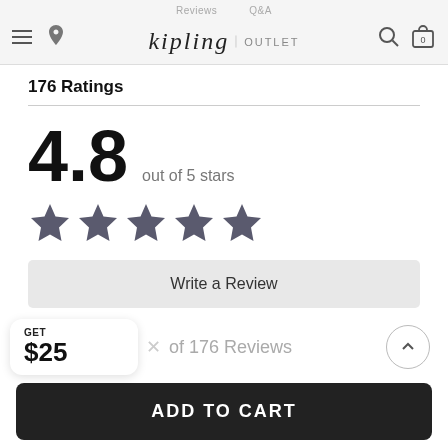kipling OUTLET
176 Ratings
4.8 out of 5 stars
[Figure (other): Five stars rating display (approx 4.8 out of 5 stars)]
Write a Review
Show details
GET $25
of 176 Reviews
ADD TO CART